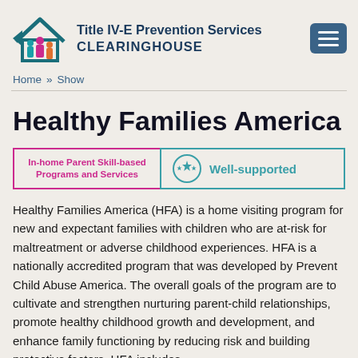Title IV-E Prevention Services CLEARINGHOUSE
Home » Show
Healthy Families America
In-home Parent Skill-based Programs and Services
Well-supported
Healthy Families America (HFA) is a home visiting program for new and expectant families with children who are at-risk for maltreatment or adverse childhood experiences. HFA is a nationally accredited program that was developed by Prevent Child Abuse America. The overall goals of the program are to cultivate and strengthen nurturing parent-child relationships, promote healthy childhood growth and development, and enhance family functioning by reducing risk and building protective factors. HFA includes